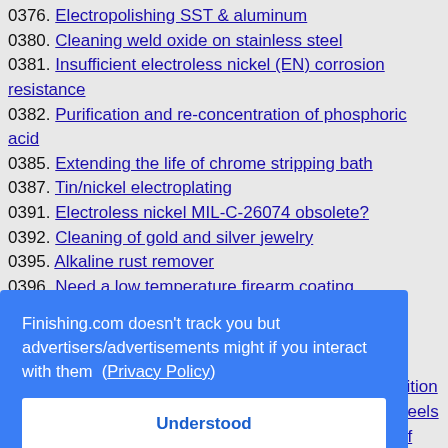0376. Electropolishing SST & aluminum
0380. Cleaning weld oxide on stainless steel
0381. Insufficient electroless nickel (EN) corrosion resistance
0382. Purification and re-concentration of phosphoric acid
0385. Extending the life of chrome stripping bath
0387. Tin/nickel electroplating
0391. Electroless nickel MIL-C-26074 obsolete?
0392. Cleaning of gold and silver jewelry
0395. Alkaline rust remover
0396. Need a low temperature firearm coating
0397. Are fume suppressants sufficient for chrome ...
[Figure (other): Cookie/privacy consent modal overlay with blue background. Text: 'Finishing.com doesn't track you but advertisers/advertisements might if you interact with them (Privacy Policy)' with an 'Understood' button.]
... position ... wheels ... of surface texture